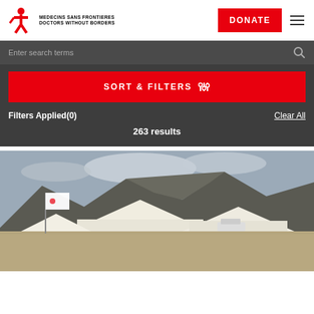[Figure (logo): Médecins Sans Frontières / Doctors Without Borders logo with red figure and text]
DONATE
Enter search terms
SORT & FILTERS
Filters Applied(0)
Clear All
263 results
[Figure (photo): MSF field camp with white tents, MSF flag, vehicles, and rocky mountain landscape in background under cloudy sky]